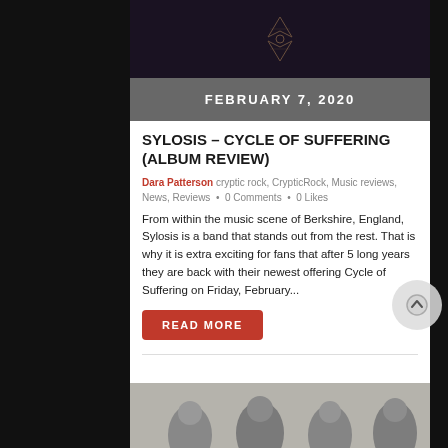[Figure (photo): Dark album art with geometric design on dark background]
FEBRUARY 7, 2020
SYLOSIS – CYCLE OF SUFFERING (ALBUM REVIEW)
Dara Patterson  cryptic rock,  CrypticRock,  Music reviews,  News,  Reviews  •  0 Comments  •  0 Likes
From within the music scene of Berkshire, England, Sylosis is a band that stands out from the rest. That is why it is extra exciting for fans that after 5 long years they are back with their newest offering Cycle of Suffering on Friday, February...
READ MORE
[Figure (photo): Group photo of band members at the bottom of the page]